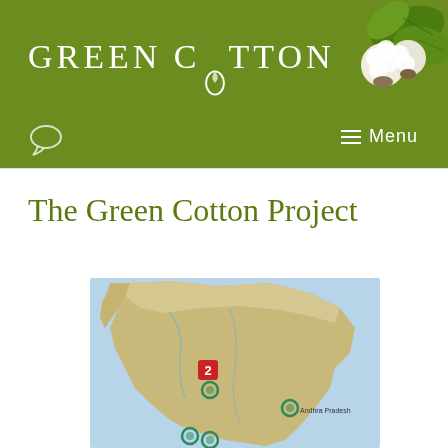GREEN COTTON
The Green Cotton Project
[Figure (map): Map of India with location markers/pins indicating Green Cotton Project sites]